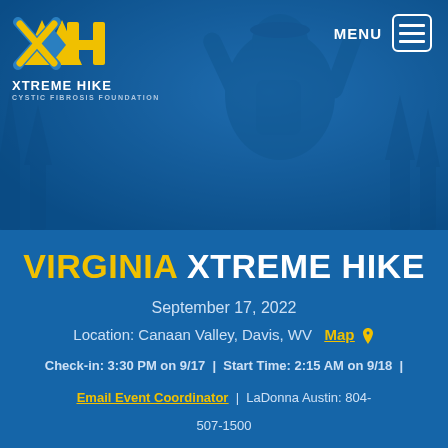[Figure (photo): Hero image of a female hiker with arms raised in celebration, wearing a backpack and cap, overlaid with blue tint. Xtreme Hike Cystic Fibrosis Foundation logo in top left, MENU button with hamburger icon in top right.]
VIRGINIA XTREME HIKE
September 17, 2022
Location: Canaan Valley, Davis, WV  Map 📍
Check-in: 3:30 PM on 9/17  |  Start Time: 2:15 AM on 9/18  |
Email Event Coordinator  |  LaDonna Austin: 804-
507-1500